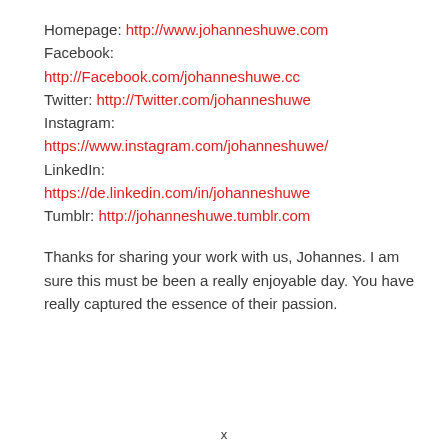Homepage: http://www.johanneshuwe.com
Facebook:
http://Facebook.com/johanneshuwe.cc
Twitter: http://Twitter.com/johanneshuwe
Instagram:
https://www.instagram.com/johanneshuwe/
LinkedIn:
https://de.linkedin.com/in/johanneshuwe
Tumblr: http://johanneshuwe.tumblr.com
Thanks for sharing your work with us, Johannes. I am sure this must be been a really enjoyable day. You have really captured the essence of their passion.
x